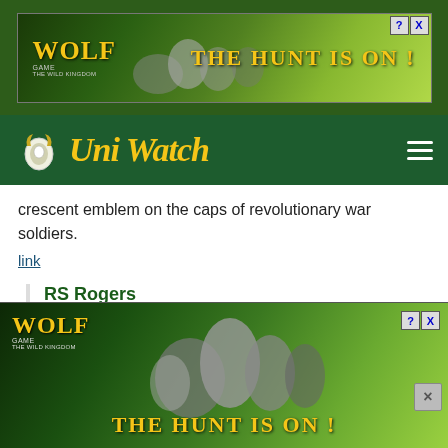[Figure (screenshot): Wolf Game advertisement banner at top - wolves in field, text THE HUNT IS ON!]
[Figure (logo): UniWatch website logo - golden italic text on dark green header bar with hamburger menu]
crescent emblem on the caps of revolutionary war soldiers.
link
RS Rogers
January 30, 2018 at 1:41 pm
It's a gorget, which is worn around the neck or over the chest, not on a cap. Find several early American examples (including young George Washington) in the Wikipedia entry:
link
A few...art of their...
[Figure (screenshot): Wolf Game advertisement banner at bottom - wolves in field, THE HUNT IS ON! text]